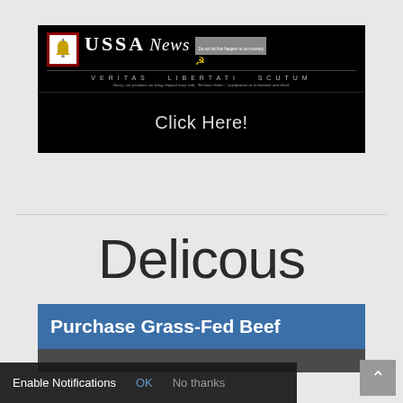[Figure (logo): USSA News banner with Liberty Bell logo, Gothic 'News' text, hammer-and-sickle symbol, 'VERITAS LIBERTATI SCUTUM' tagline, and 'Click Here!' call to action on black background]
Delicous
[Figure (screenshot): Blue banner reading 'Purchase Grass-Fed Beef' with partial image below]
Enable Notifications   OK   No thanks